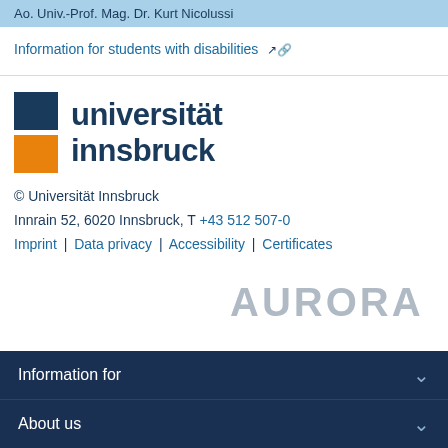Ao. Univ.-Prof. Mag. Dr. Kurt Nicolussi
Information for students with disabilities 🔗
[Figure (logo): Universität Innsbruck logo with dark blue and orange square blocks and text 'universität innsbruck']
© Universität Innsbruck
Innrain 52, 6020 Innsbruck, T +43 512 507-0
Imprint | Data privacy | Accessibility | Certificates
[Figure (logo): AURORA network logo in grey text]
Information for
About us